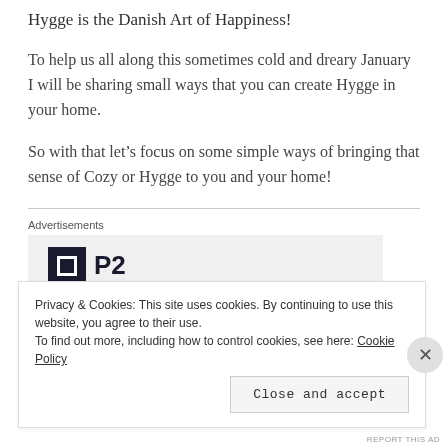Hygge is the Danish Art of Happiness!
To help us all along this sometimes cold and dreary January I will be sharing small ways that you can create Hygge in your home.
So with that let’s focus on some simple ways of bringing that sense of Cozy or Hygge to you and your home!
Advertisements
[Figure (logo): P2 logo with dark square icon containing white inner square and bold P2 text]
Privacy & Cookies: This site uses cookies. By continuing to use this website, you agree to their use.
To find out more, including how to control cookies, see here: Cookie Policy
Close and accept
REPORT THIS AD